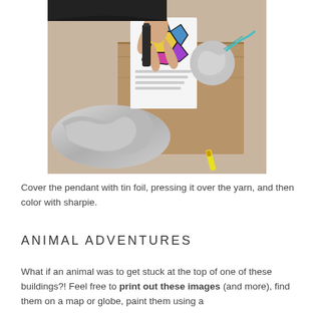[Figure (photo): Child's hands working on a craft project with tin foil, yarn pendants, and stained glass-style decorations on a wooden surface, with a Crayola crayon visible]
Cover the pendant with tin foil, pressing it over the yarn, and then color with sharpie.
ANIMAL ADVENTURES
What if an animal was to get stuck at the top of one of these buildings?! Feel free to print out these images (and more), find them on a map or globe, paint them using a